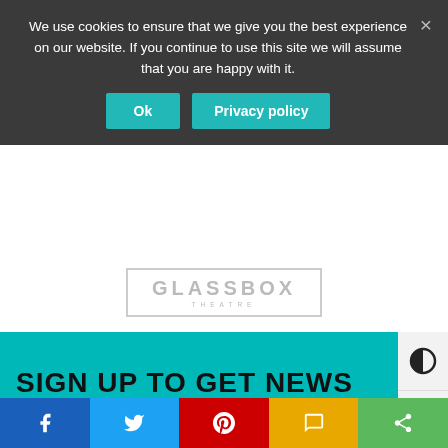We use cookies to ensure that we give you the best experience on our website. If you continue to use this site we will assume that you are happy with it.
Ok
Privacy policy
[Figure (logo): Glassbox Theatre logo - text GLASSBOX in grey with THEATRE below, inside a rectangular border]
SIGN UP TO GET NEWS FIRST
Your Email